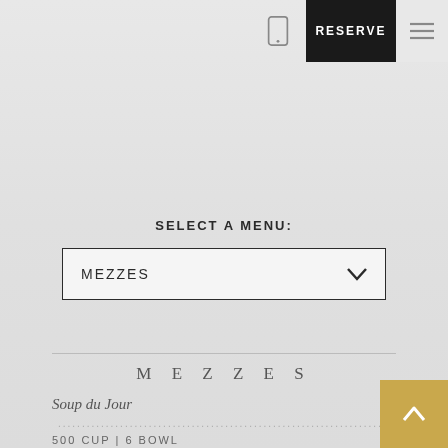RESERVE
SELECT A MENU:
MEZZES
MEZZES
Soup du Jour
500 CUP | 6 BOWL